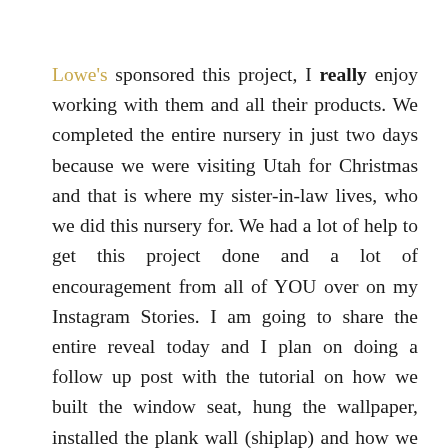Lowe's sponsored this project, I really enjoy working with them and all their products. We completed the entire nursery in just two days because we were visiting Utah for Christmas and that is where my sister-in-law lives, who we did this nursery for. We had a lot of help to get this project done and a lot of encouragement from all of YOU over on my Instagram Stories. I am going to share the entire reveal today and I plan on doing a follow up post with the tutorial on how we built the window seat, hung the wallpaper, installed the plank wall (shiplap) and how we got the sconces to glow without being hardwired.
Alright let's first see the darling couple. My sister-in-law (Kevin's sister) and her cutie hubby Blain...